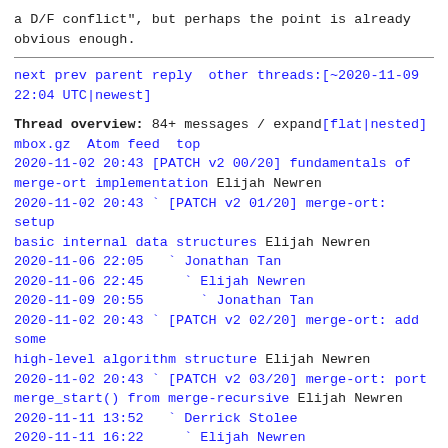a D/F conflict", but perhaps the point is already obvious enough.
next prev parent reply  other threads:[~2020-11-09 22:04 UTC|newest]
Thread overview: 84+ messages / expand[flat|nested] mbox.gz  Atom feed  top
2020-11-02 20:43 [PATCH v2 00/20] fundamentals of merge-ort implementation Elijah Newren
2020-11-02 20:43 ` [PATCH v2 01/20] merge-ort: setup basic internal data structures Elijah Newren
2020-11-06 22:05   ` Jonathan Tan
2020-11-06 22:45     ` Elijah Newren
2020-11-09 20:55       ` Jonathan Tan
2020-11-02 20:43 ` [PATCH v2 02/20] merge-ort: add some high-level algorithm structure Elijah Newren
2020-11-02 20:43 ` [PATCH v2 03/20] merge-ort: port merge_start() from merge-recursive Elijah Newren
2020-11-11 13:52   ` Derrick Stolee
2020-11-11 16:22     ` Elijah Newren
2020-11-02 20:43 ` [PATCH v2 04/20] merge-ort: use histogram diff Elijah Newren
2020-11-11 13:54   ` Derrick Stolee
2020-11-11 16:47     ` Elijah Newren
2020-11-11 16:51       ` Derrick Stolee
2020-11-11 17:03         ` Elijah Newren
2020-11-02 20:43 ` [PATCH v2 05/20] merge-ort: add an err() function similar to one from merge-recursive